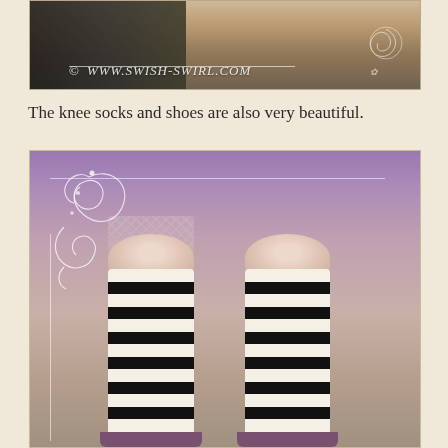[Figure (photo): Close-up photo of a doll's face/head area with copyright watermark overlay reading '© WWW.SWISH-SWIRL.COM' with decorative swirl graphic]
The knee socks and shoes are also very beautiful.
[Figure (photo): Close-up photo of a ball-jointed doll's legs wearing black and white striped knee socks, with a purple fluffy skirt visible at the top and pink/purple shoes at the bottom. Decorative swirl overlay on the left side of the image.]